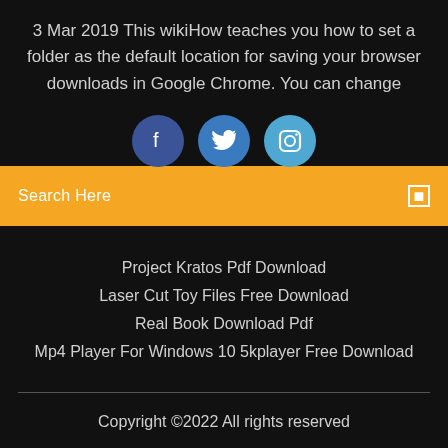3 Mar 2019 This wikiHow teaches you how to set a folder as the default location for saving your browser downloads in Google Chrome. You can change
[Figure (other): Three social media icons: Facebook (dark blue circle with 'f'), Twitter (medium blue circle with bird icon), Instagram (light blue circle with camera icon)]
Search Here
Project Kratos Pdf Download
Laser Cut Toy Files Free Download
Real Book Download Pdf
Mp4 Player For Windows 10 5kplayer Free Download
Copyright ©2022 All rights reserved